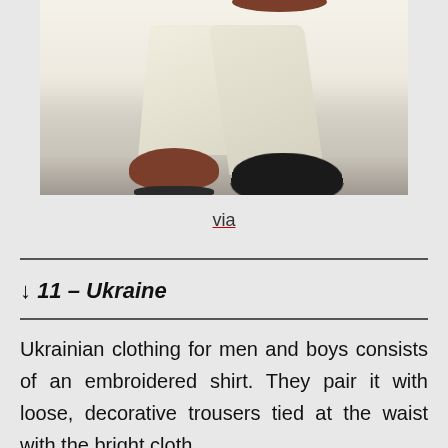[Figure (photo): Photo showing lower body/legs of a person wearing loose cream/beige trousers and brown leather sandals, walking on white background]
via
↓ 11 – Ukraine
Ukrainian clothing for men and boys consists of an embroidered shirt. They pair it with loose, decorative trousers tied at the waist with the bright cloth.